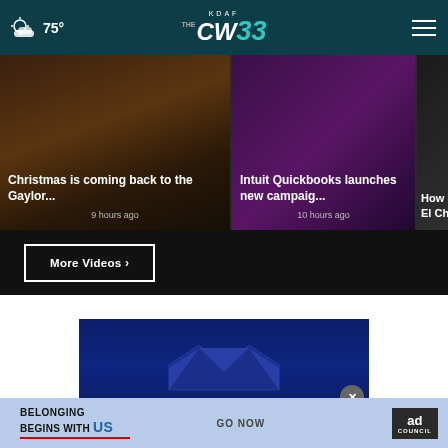KDAF CW33 — 75°
[Figure (screenshot): Video card: Christmas is coming back to the Gaylor... — 9 hours ago]
[Figure (screenshot): Video card: Intuit Quickbooks launches new campaig... — 10 hours ago]
[Figure (screenshot): Video card: How N... El Chi... (partially visible)]
More Videos ›
[Figure (advertisement): BestReviews ad — Take the search out of your research at BESTREVIEWS with crown graphic]
[Figure (advertisement): Ad Council banner — BELONGING BEGINS WITH US, GO NOW]